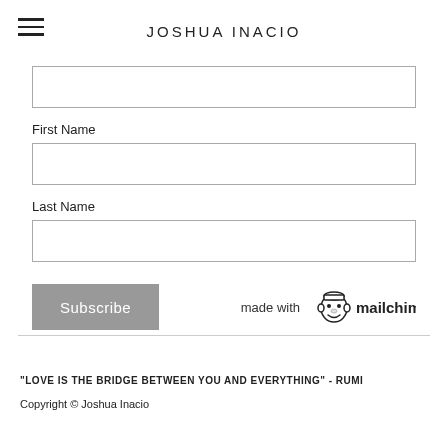JOSHUA INACIO
First Name
Last Name
[Figure (logo): made with mailchimp logo]
"LOVE IS THE BRIDGE BETWEEN YOU AND EVERYTHING" - RUMI
Copyright © Joshua Inacio